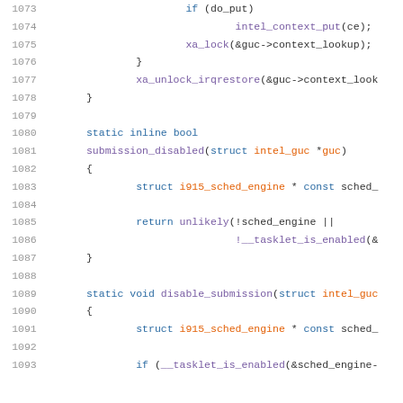Source code listing lines 1073-1093, C kernel code for Intel GUC driver submission control functions.